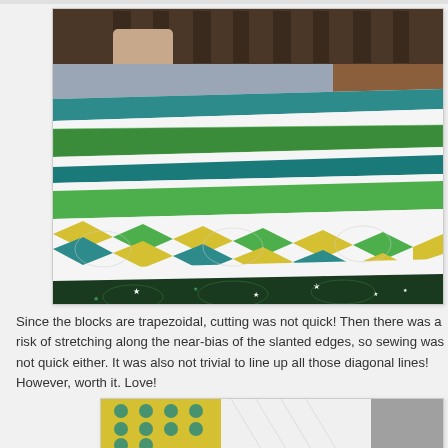[Figure (photo): A colorful quilt draped over a bed, showing trapezoidal patchwork blocks in green, yellow, teal, and white diagonal stripe patterns, with a dark green star-pattern fabric visible below.]
Since the blocks are trapezoidal, cutting was not quick!  Then there was a risk of stretching along the near-bias of the slanted edges, so sewing was not quick either.  It was also not trivial to line up all those diagonal lines!  However, worth it.  Love!
[Figure (photo): Close-up of quilt binding or border detail showing yellow polka-dot teal fabric and white quilted fabric.]